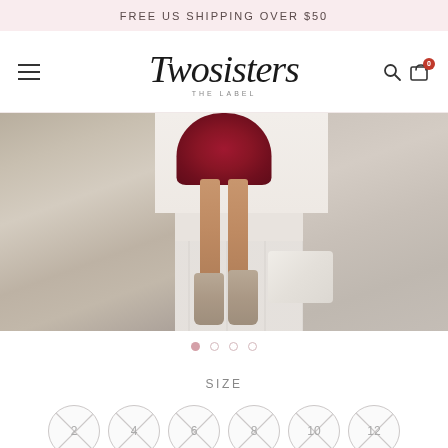FREE US SHIPPING OVER $50
[Figure (logo): Two Sisters The Label cursive script logo with hamburger menu on left, search and cart icons on right]
[Figure (photo): Fashion photo showing lower body of a model wearing a short dark red/burgundy dress and tan strappy heeled sandals, standing on white wooden floor boards. Left side shows a chunky knit throw on a white leather pouf ottoman. Right side shows a faux fur throw on a wooden stool with a white pillow on the floor.]
SIZE
2
4
6
8
10
12